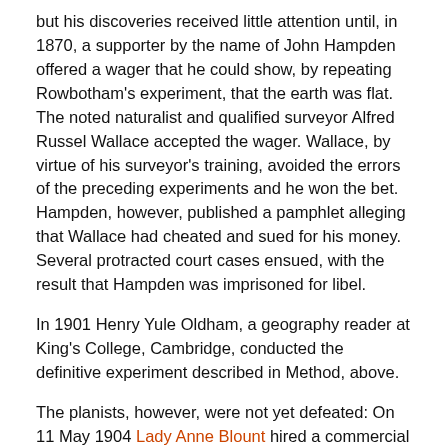but his discoveries received little attention until, in 1870, a supporter by the name of John Hampden offered a wager that he could show, by repeating Rowbotham's experiment, that the earth was flat. The noted naturalist and qualified surveyor Alfred Russel Wallace accepted the wager. Wallace, by virtue of his surveyor's training, avoided the errors of the preceding experiments and he won the bet. Hampden, however, published a pamphlet alleging that Wallace had cheated and sued for his money. Several protracted court cases ensued, with the result that Hampden was imprisoned for libel.
In 1901 Henry Yule Oldham, a geography reader at King's College, Cambridge, conducted the definitive experiment described in Method, above.
The planists, however, were not yet defeated: On 11 May 1904 Lady Anne Blount hired a commercial photographer to use a telephoto lens camera to take a picture from Welney of a large white sheet she had placed, touching the surface of the river, at Rowbotham's original position six miles away. The photographer, Edgar Clifton from Dallmeyer's studio, mounted his camera two feet above the water at Welney and was surprised to be able to obtain a picture of the target, which should have been invisible to him given the low mounting point of the camera. Lady Blount